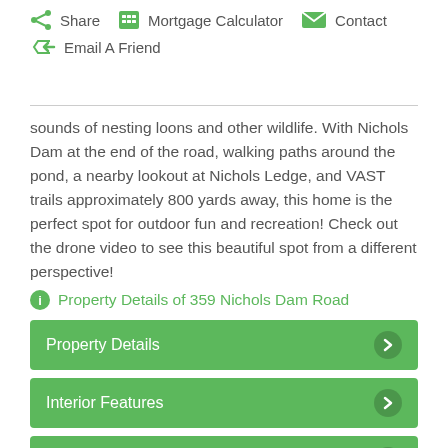Share   Mortgage Calculator   Contact   Email A Friend
sounds of nesting loons and other wildlife. With Nichols Dam at the end of the road, walking paths around the pond, a nearby lookout at Nichols Ledge, and VAST trails approximately 800 yards away, this home is the perfect spot for outdoor fun and recreation! Check out the drone video to see this beautiful spot from a different perspective!
Property Details of 359 Nichols Dam Road
Property Details
Interior Features
Exterior Features